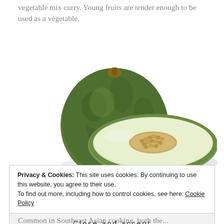vegetable mix curry. Young fruits are tender enough to be used as a vegetable.
[Figure (photo): A whole green papaya and a halved green papaya showing white flesh and seeds inside, on a white background.]
Privacy & Cookies: This site uses cookies. By continuing to use this website, you agree to their use.
To find out more, including how to control cookies, see here: Cookie Policy
Close and accept
Common in Southeast Asian cooking, both the...